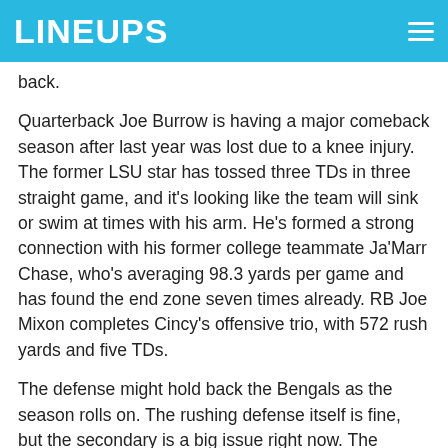LINEUPS
back.
Quarterback Joe Burrow is having a major comeback season after last year was lost due to a knee injury. The former LSU star has tossed three TDs in three straight game, and it's looking like the team will sink or swim at times with his arm. He's formed a strong connection with his former college teammate Ja'Marr Chase, who's averaging 98.3 yards per game and has found the end zone seven times already. RB Joe Mixon completes Cincy's offensive trio, with 572 rush yards and five TDs.
The defense might hold back the Bengals as the season rolls on. The rushing defense itself is fine, but the secondary is a big issue right now. The team's allowing 266.9 passing yards per game, ranking 23rd in the league. That's not sustainable in an AFC with plenty of explosive passing offenses. The good news is the Bengals are getting to the quarterback,